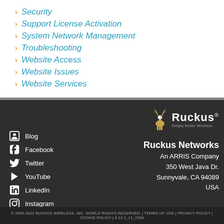Security
Support License Activation
System Network Management
Troubleshooting
Website Access
Website Issues
Website Services
[Figure (logo): Ruckus Networks logo with deer/moose illustration and 'Simply Better Wireless' tagline]
Blog
Facebook
Twitter
YouTube
LinkedIn
Instagram
Ruckus Networks
An ARRIS Company
350 West Java Dr.
Sunnyvale, CA 94089
USA
© 2005-2022 RUCKUS WIRELESS, INC. WORLD RIGHTS RESERVED. | TERMS OF USE | PRIVACY POLICY | COOKIE POLICY | 3.12.1_11_2286